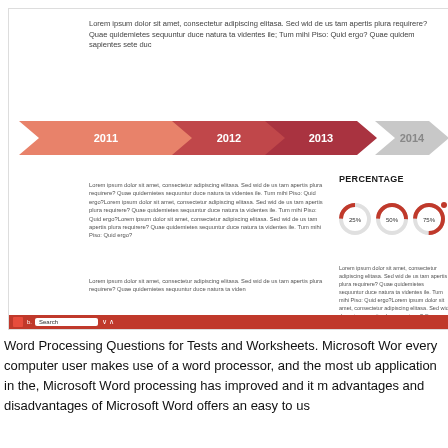[Figure (screenshot): Screenshot of a Microsoft Word document/presentation showing a lorem ipsum placeholder slide with a timeline (2011-2015) and percentage donut charts (25%, 50%, 75%) along with placeholder body text and a Windows taskbar at the bottom.]
Word Processing Questions for Tests and Worksheets. Microsoft Wor every computer user makes use of a word processor, and the most ub application in the, Microsoft Word processing has improved and it m advantages and disadvantages of Microsoft Word offers an easy to us